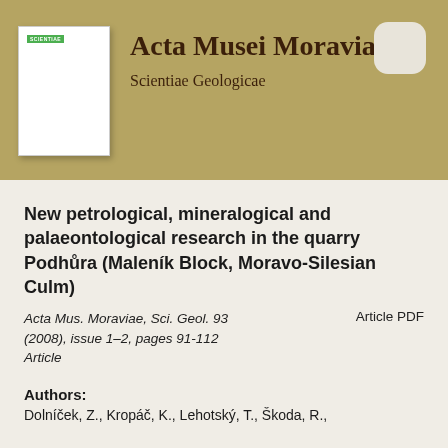[Figure (illustration): Journal cover thumbnail for Acta Musei Moraviae, Scientiae Geologicae, shown as a small white book cover with a green SCIENTIAE label strip at the top.]
Acta Musei Moraviae
Scientiae Geologicae
New petrological, mineralogical and palaeontological research in the quarry Podhůra (Maleník Block, Moravo-Silesian Culm)
Acta Mus. Moraviae, Sci. Geol. 93 (2008), issue 1–2, pages 91-112
Article
Article PDF
Authors:
Dolníček, Z., Kropáč, K., Lehotský, T., Škoda, R.,